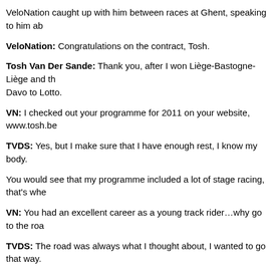VeloNation caught up with him between races at Ghent, speaking to him ab
VeloNation: Congratulations on the contract, Tosh.
Tosh Van Der Sande: Thank you, after I won Liège-Bastogne-Liège and th Davo to Lotto.
VN: I checked out your programme for 2011 on your website, www.tosh.be
TVDS: Yes, but I make sure that I have enough rest, I know my body.
You would see that my programme included a lot of stage racing, that's whe
VN: You had an excellent career as a young track rider…why go to the roa
TVDS: The road was always what I thought about, I wanted to go that way.
I won the junior Worlds points on the track but I was always good on the ro
VN: Who were your idols when you were young?
TVDS: I didn't specifically have one rider I looked up to, rather I admired th the best out of themselves.
VN: Isn't it hard to go from the road to the six days?